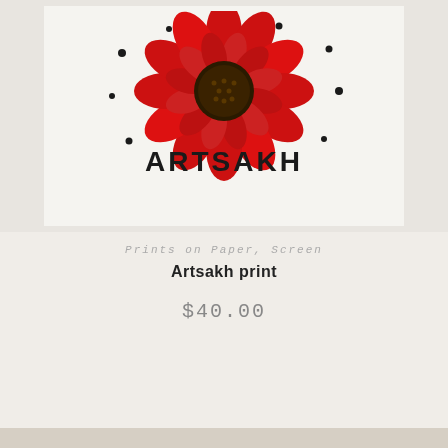[Figure (illustration): Screenprint artwork showing a large red and dark blue poppy/sunflower with detailed petals and center, with the word ARTSAKH in bold black letters curved beneath it on a light cream/white background.]
Prints on Paper, Screen
Artsakh print
$40.00
Add to cart